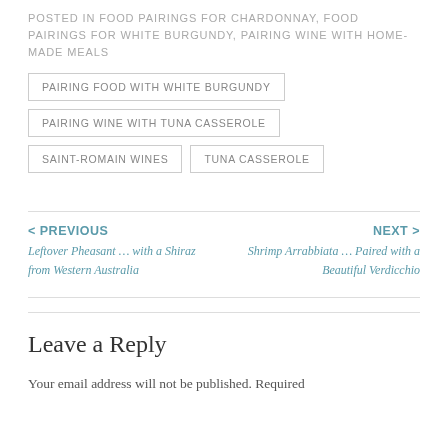POSTED IN FOOD PAIRINGS FOR CHARDONNAY, FOOD PAIRINGS FOR WHITE BURGUNDY, PAIRING WINE WITH HOME-MADE MEALS
PAIRING FOOD WITH WHITE BURGUNDY
PAIRING WINE WITH TUNA CASSEROLE
SAINT-ROMAIN WINES
TUNA CASSEROLE
< PREVIOUS
Leftover Pheasant … with a Shiraz from Western Australia
NEXT >
Shrimp Arrabbiata … Paired with a Beautiful Verdicchio
Leave a Reply
Your email address will not be published. Required